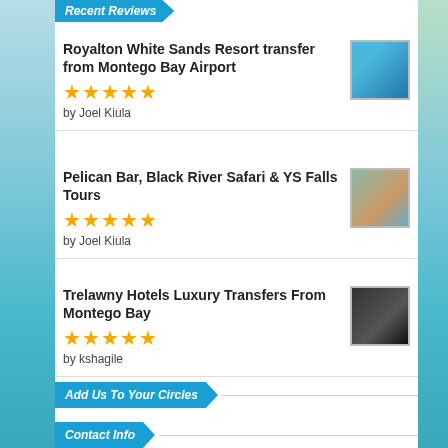Recent Reviews
Royalton White Sands Resort transfer from Montego Bay Airport — ★★★★★ — by Joel Kiula
Pelican Bar, Black River Safari & YS Falls Tours — ★★★★★ — by Joel Kiula
Trelawny Hotels Luxury Transfers From Montego Bay — ★★★★★ — by kshagile
Add Us To Your Circles
Contact Info